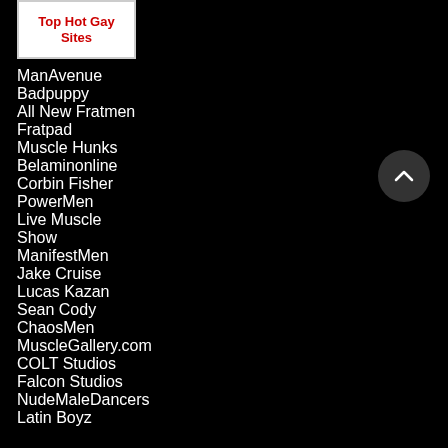[Figure (logo): Banner with text 'Top Hot Gay Sites' in red bold text on white background]
ManAvenue
Badpuppy
All New Fratmen
Fratpad
Muscle Hunks
Belaminonline
Corbin Fisher
PowerMen
Live Muscle Show
ManifestMen
Jake Cruise
Lucas Kazan
Sean Cody
ChaosMen
MuscleGallery.com
COLT Studios
Falcon Studios
NudeMaleDancers
Latin Boyz